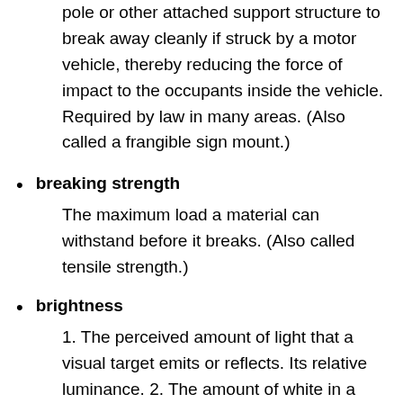pole or other attached support structure to break away cleanly if struck by a motor vehicle, thereby reducing the force of impact to the occupants inside the vehicle. Required by law in many areas. (Also called a frangible sign mount.)
breaking strength — The maximum load a material can withstand before it breaks. (Also called tensile strength.)
brightness — 1. The perceived amount of light that a visual target emits or reflects. Its relative luminance. 2. The amount of white in a given